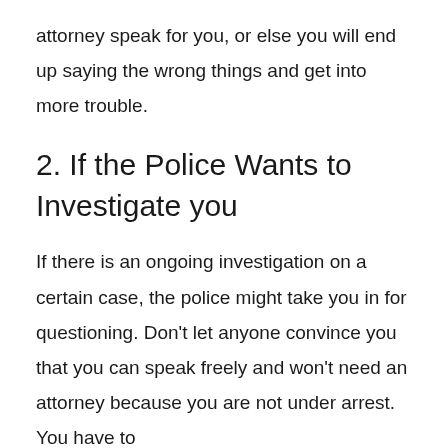attorney speak for you, or else you will end up saying the wrong things and get into more trouble.
2. If the Police Wants to Investigate you
If there is an ongoing investigation on a certain case, the police might take you in for questioning. Don't let anyone convince you that you can speak freely and won't need an attorney because you are not under arrest. You have to